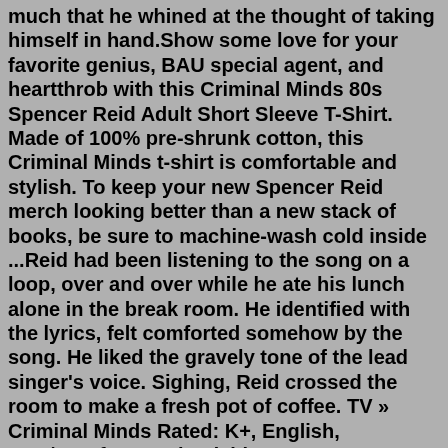much that he whined at the thought of taking himself in hand.Show some love for your favorite genius, BAU special agent, and heartthrob with this Criminal Minds 80s Spencer Reid Adult Short Sleeve T-Shirt. Made of 100% pre-shrunk cotton, this Criminal Minds t-shirt is comfortable and stylish. To keep your new Spencer Reid merch looking better than a new stack of books, be sure to machine-wash cold inside ...Reid had been listening to the song on a loop, over and over while he ate his lunch alone in the break room. He identified with the lyrics, felt comforted somehow by the song. He liked the gravely tone of the lead singer's voice. Sighing, Reid crossed the room to make a fresh pot of coffee. TV » Criminal Minds Rated: K+, English, Hurt/Comfort & Friendship, D. Morgan, S. Reid, Words: 891, Favs: 271, Follows: 57, Published: 2/8/2012 34 Morgan had been as reluctant as he was to share a bed, but there was only one single, the room was practically arctic, and it made sense to utilise each other's body heat. Reid turned his head slightly and caught a quick peak of what looked